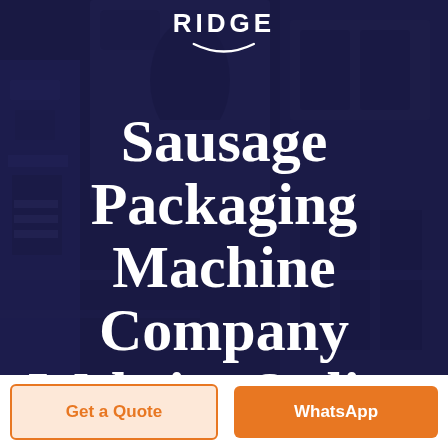[Figure (photo): Hero section with dark navy/purple semi-transparent overlay on top of a factory/packaging machinery background. RIDGE company logo at top center with white arc symbol.]
Sausage Packaging Machine Company Website Online
Get a Quote
WhatsApp